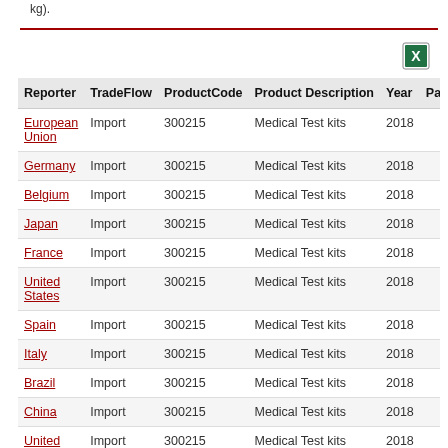kg).
| Reporter | TradeFlow | ProductCode | Product Description | Year | Pa |
| --- | --- | --- | --- | --- | --- |
| European Union | Import | 300215 | Medical Test kits | 2018 |  |
| Germany | Import | 300215 | Medical Test kits | 2018 |  |
| Belgium | Import | 300215 | Medical Test kits | 2018 |  |
| Japan | Import | 300215 | Medical Test kits | 2018 |  |
| France | Import | 300215 | Medical Test kits | 2018 |  |
| United States | Import | 300215 | Medical Test kits | 2018 |  |
| Spain | Import | 300215 | Medical Test kits | 2018 |  |
| Italy | Import | 300215 | Medical Test kits | 2018 |  |
| Brazil | Import | 300215 | Medical Test kits | 2018 |  |
| China | Import | 300215 | Medical Test kits | 2018 |  |
| United Kingdom | Import | 300215 | Medical Test kits | 2018 |  |
| Canada | Import | 300215 | Medical Test kits | 2018 |  |